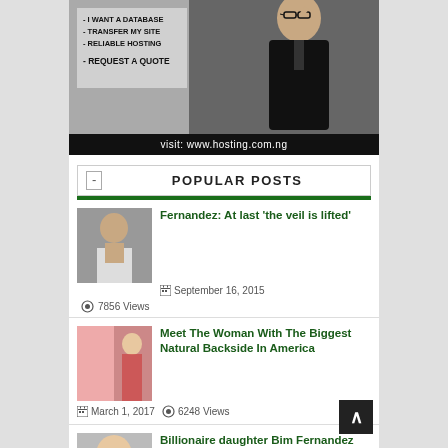[Figure (photo): Advertisement banner showing a person in a black suit adjusting glasses, with text listing web hosting services: I WANT A DATABASE, TRANSFER MY SITE, RELIABLE HOSTING, REQUEST A QUOTE. Footer reads: visit: www.hosting.com.ng]
POPULAR POSTS
Fernandez: At last 'the veil is lifted'
September 16, 2015
7856 Views
Meet The Woman With The Biggest Natural Backside In America
March 1, 2017   6248 Views
Billionaire daughter Bim Fernandez stuns in new sexy photos